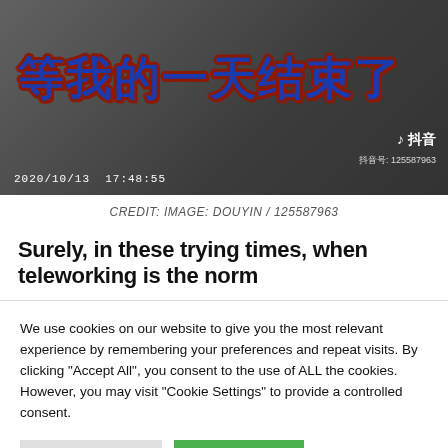[Figure (screenshot): Screenshot of a Douyin (TikTok China) video showing a room from above with large Chinese text overlay reading '等我的一天结束了', timestamp 2020/10/13 17:48:55, Douyin logo and account number 125587963 visible.]
CREDIT: IMAGE: DOUYIN / 125587963
Surely, in these trying times, when teleworking is the norm
We use cookies on our website to give you the most relevant experience by remembering your preferences and repeat visits. By clicking "Accept All", you consent to the use of ALL the cookies. However, you may visit "Cookie Settings" to provide a controlled consent.